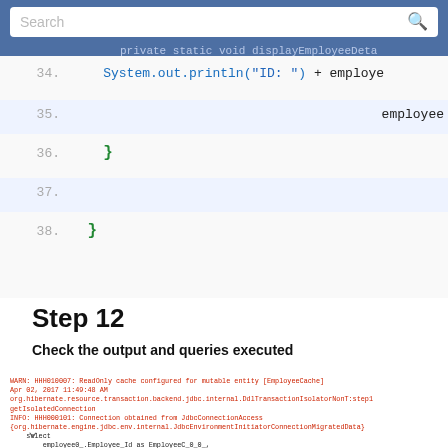[Figure (screenshot): Search bar UI element with placeholder text 'Search' and a magnifier icon, overlaid on a blue header bar showing partial code text 'private static void displayEmployeeDeta']
[Figure (screenshot): Code editor showing Java code lines 34-38. Line 34: System.out.println("ID: " + employee... Line 35: employee... Line 36: } (in green) Line 37: (empty) Line 38: } (in green)]
Step 12
Check the output and queries executed
[Figure (screenshot): Console output screenshot showing Hibernate SQL query output in red and black monospace text, with SQL SELECT and FROM clauses, a chevron/arrow icon at bottom left]